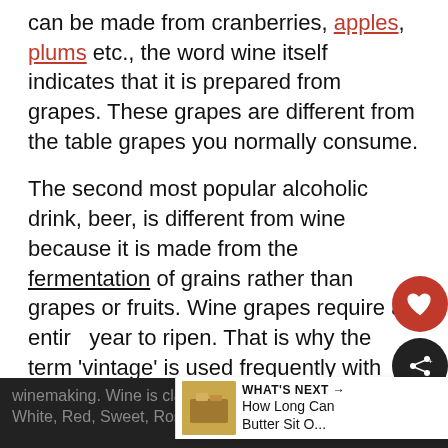can be made from cranberries, apples, plums etc., the word wine itself indicates that it is prepared from grapes. These grapes are different from the table grapes you normally consume.
The second most popular alcoholic drink, beer, is different from wine because it is made from the fermentation of grains rather than grapes or fruits. Wine grapes require an entire year to ripen. That is why the term 'vintage' is used frequently with wines.
The 'Age' in vintage talks about the year preparation of that wine, and 'vint' means
winemaking. Wine is classified into five types: White, Red, Sweet, Rose and Sparkling Wine.